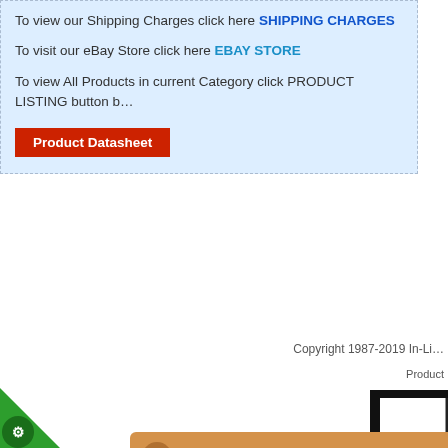To view our Shipping Charges click here SHIPPING CHARGES
To visit our eBay Store click here EBAY STORE
To view All Products in current Category click PRODUCT LISTING button
Product Datasheet
Copyright 1987-2019 In-Li...
Product
[Figure (screenshot): Cookie Control overlay dialog with orange background showing cookie notice, green 'Cookies are on' button and 'read More' link]
Home | About Us | Contact Us | Privacy Po...
Ecommerce
Parse Time: 0.719 - Number of Queries: 140 - Query Time: 0.59623031111145
[Figure (screenshot): Payment security bar with sage pay logo, VISA, MasterCard, VISA Debit, Maestro, and Visa logos inside blue border]
[Figure (screenshot): Green triangle corner cookie control icon at bottom left]